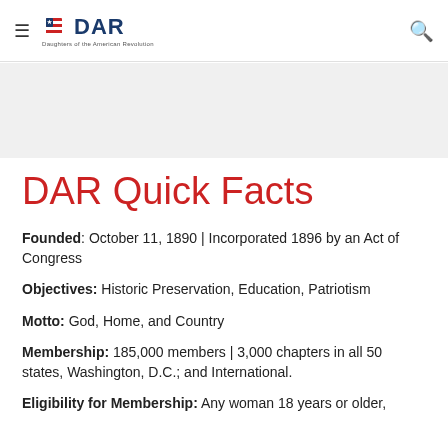DAR | Daughters of the American Revolution
[Figure (other): Gray banner/hero image area]
DAR Quick Facts
Founded:  October 11, 1890  | Incorporated 1896 by an Act of Congress
Objectives: Historic Preservation, Education, Patriotism
Motto: God, Home, and Country
Membership:  185,000 members | 3,000 chapters in all 50 states, Washington, D.C.; and International.
Eligibility for Membership:  Any woman 18 years or older,